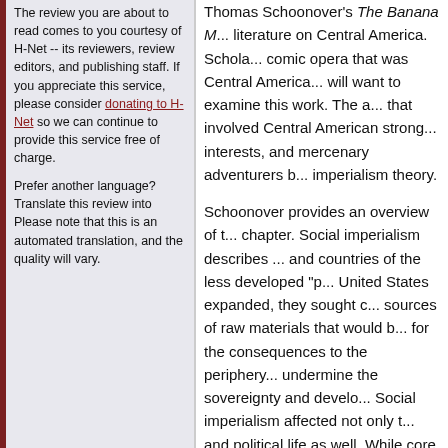The review you are about to read comes to you courtesy of H-Net -- its reviewers, review editors, and publishing staff. If you appreciate this service, please consider donating to H-Net so we can continue to provide this service free of charge.
Prefer another language? Translate this review into
Please note that this is an automated translation, and the quality will vary.
Thomas Schoonover's The Banana M... literature on Central America. Scholars... comic opera that was Central America... will want to examine this work. The a... that involved Central American strong... interests, and mercenary adventurers b... imperialism theory.
Schoonover provides an overview of t... chapter. Social imperialism describes ... and countries of the less developed "p... United States expanded, they sought c... sources of raw materials that would b... for the consequences to the periphery... undermine the sovereignty and develo... Social imperialism affected not only t... and political life as well. While core i... environment for their needs, they ofter... "comprador" elite in the host country,... maintained, in power. Due to geograp... orbit of the United States. Schoonove... chronic unrest in Central America fro... interested in more information on soc... States in Central America, 1860-1911...